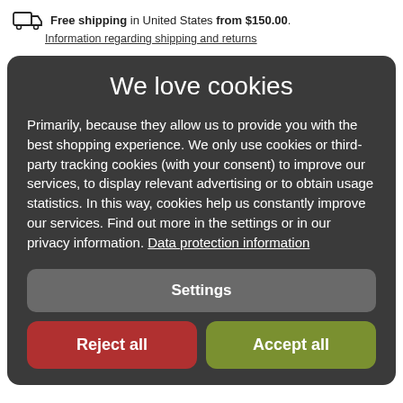Free shipping in United States from $150.00. Information regarding shipping and returns
We love cookies
Primarily, because they allow us to provide you with the best shopping experience. We only use cookies or third-party tracking cookies (with your consent) to improve our services, to display relevant advertising or to obtain usage statistics. In this way, cookies help us constantly improve our services. Find out more in the settings or in our privacy information. Data protection information
Settings
Reject all
Accept all